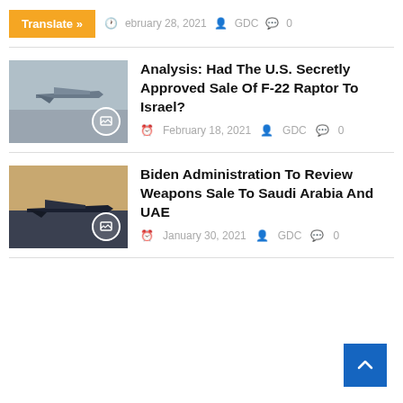Translate » February 28, 2021 GDC 0
[Figure (photo): F-22 Raptor fighter jet on tarmac, gray sky background]
Analysis: Had The U.S. Secretly Approved Sale Of F-22 Raptor To Israel?
February 18, 2021 GDC 0
[Figure (photo): Military aircraft on runway at dusk/sunset]
Biden Administration To Review Weapons Sale To Saudi Arabia And UAE
January 30, 2021 GDC 0